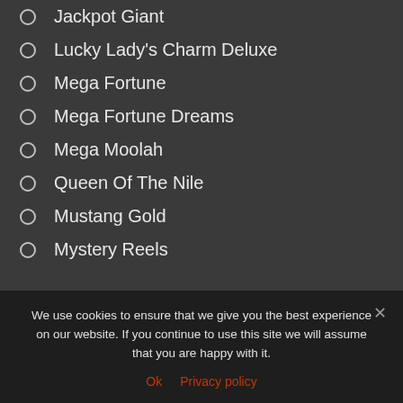Jackpot Giant
Lucky Lady's Charm Deluxe
Mega Fortune
Mega Fortune Dreams
Mega Moolah
Queen Of The Nile
Mustang Gold
Mystery Reels
Narcos
Pirates' Plenty The Sunken Treasure
Starburst
We use cookies to ensure that we give you the best experience on our website. If you continue to use this site we will assume that you are happy with it.
Ok   Privacy policy